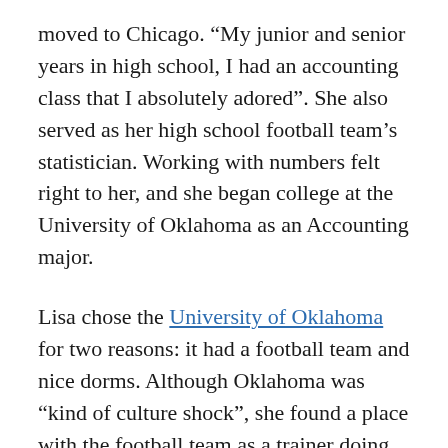moved to Chicago. “My junior and senior years in high school, I had an accounting class that I absolutely adored”. She also served as her high school football team’s statistician. Working with numbers felt right to her, and she began college at the University of Oklahoma as an Accounting major.
Lisa chose the University of Oklahoma for two reasons: it had a football team and nice dorms. Although Oklahoma was “kind of culture shock”, she found a place with the football team as a trainer doing stats and other tasks. “I was the first woman team trainer in the Big Eight at the time…and my coach was not real pleased”. After several days of sending her